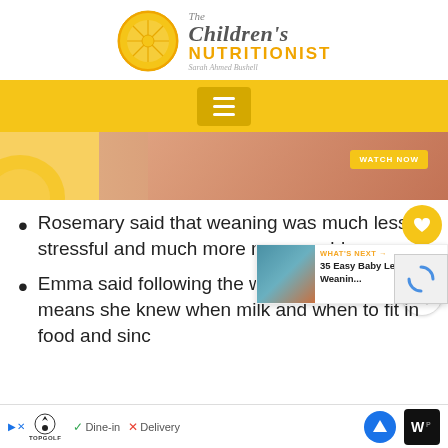[Figure (logo): The Children's Nutritionist logo with orange slice graphic and text 'The Children's NUTRITIONIST Sarah Ahmed Bushell']
[Figure (infographic): Yellow navigation bar with hamburger menu icon]
[Figure (photo): Banner image showing a person with orange slices and a Watch Now button]
Rosemary said that weaning was much less stressful and much more manageable.
Emma said following the weaning routines means she knew when milk and when to fit in food and since
[Figure (infographic): What's Next overlay card showing '35 Easy Baby Led Weanin...' with thumbnail]
[Figure (infographic): Ad bar at bottom: Topgolf ad with Dine-in and Delivery labels, navigation and menu icons]